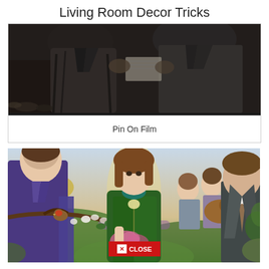Living Room Decor Tricks
[Figure (photo): Dark cinematic film still showing people in dark wool coats in a dimly lit scene]
Pin On Film
[Figure (photo): Movie poster for The Secret Garden featuring a young girl in a green coat holding a dandelion, surrounded by lush garden foliage, with other characters including a man in suit on the right and a woman on the left, with a robin bird on a branch]
CLOSE